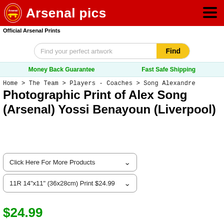Arsenal pics - Official Arsenal Prints
Find your perfect artwork
Money Back Guarantee   Fast Safe Shipping
Home > The Team > Players - Coaches > Song Alexandre
Photographic Print of Alex Song (Arsenal) Yossi Benayoun (Liverpool)
Click Here For More Products
11R 14"x11" (36x28cm) Print $24.99
$24.99